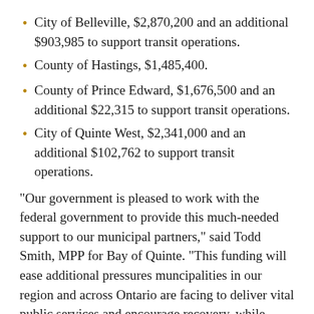City of Belleville, $2,870,200 and an additional $903,985 to support transit operations.
County of Hastings, $1,485,400.
County of Prince Edward, $1,676,500 and an additional $22,315 to support transit operations.
City of Quinte West, $2,341,000 and an additional $102,762 to support transit operations.
"Our government is pleased to work with the federal government to provide this much-needed support to our municipal partners," said Todd Smith, MPP for Bay of Quinte. "This funding will ease additional pressures muncipalities in our region and across Ontario are facing to deliver vital public services and encourage recovery, while protecting the health and well-being of their residents.  This